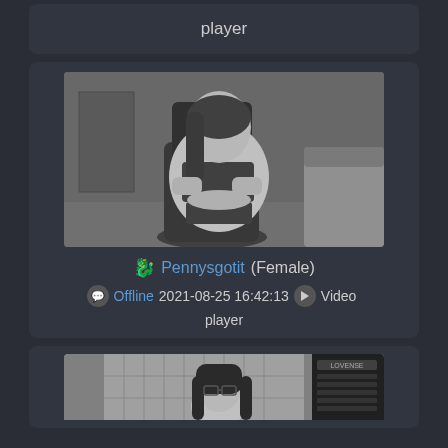player
[Figure (photo): Grayscale webcam thumbnail showing a woman sitting in a gaming chair looking at her phone, wearing lingerie, in a bedroom setting.]
🐉 Pennysgotit (Female)
💬 Offline 2021-08-25 16:42:13 ▶ Video player
[Figure (photo): Grayscale webcam thumbnail showing a woman with glasses and long dark hair, partially visible, with a Lovense device panel visible on the right side.]